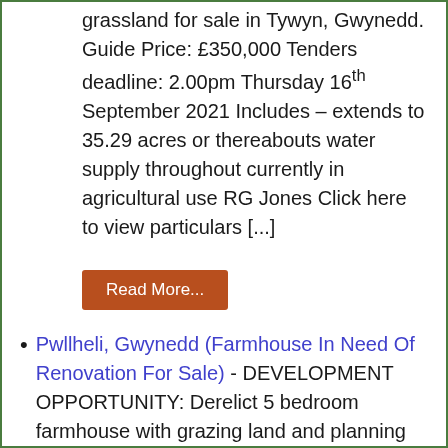grassland for sale in Tywyn, Gwynedd. Guide Price: £350,000 Tenders deadline: 2.00pm Thursday 16th September 2021 Includes – extends to 35.29 acres or thereabouts water supply throughout currently in agricultural use RG Jones Click here to view particulars [...]
Read More...
Pwllheli, Gwynedd (Farmhouse In Need Of Renovation For Sale) - DEVELOPMENT OPPORTUNITY: Derelict 5 bedroom farmhouse with grazing land and planning permission granted for sale in Gwynedd. GUIDE